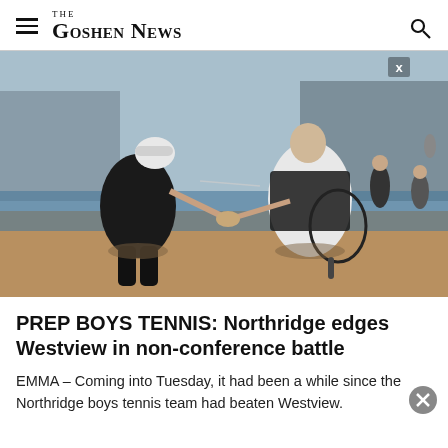The Goshen News
[Figure (photo): Two male tennis players shaking hands on an outdoor tennis court. The player on the left wears a white cap and black athletic shirt; the player on the right holds a tennis racket and wears a black and white athletic shirt. Other players and spectators are visible in the background.]
PREP BOYS TENNIS: Northridge edges Westview in non-conference battle
EMMA – Coming into Tuesday, it had been a while since the Northridge boys tennis team had beaten Westview.